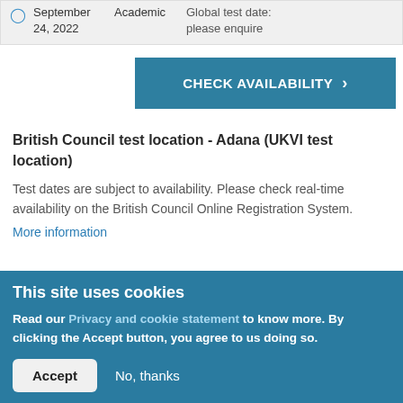|  | Date | Type | Info |
| --- | --- | --- | --- |
|  | September 24, 2022 | Academic | Global test date: please enquire |
CHECK AVAILABILITY >
British Council test location - Adana (UKVI test location)
Test dates are subject to availability. Please check real-time availability on the British Council Online Registration System.
More information
This site uses cookies
Read our Privacy and cookie statement to know more. By clicking the Accept button, you agree to us doing so.
Accept  No, thanks